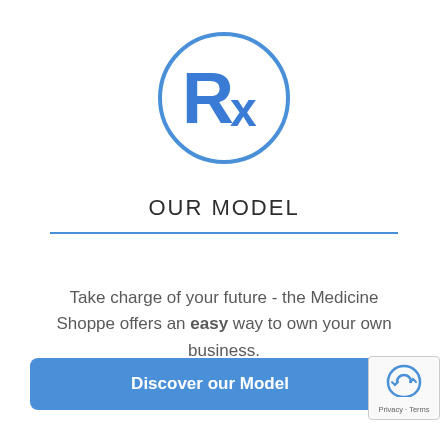[Figure (logo): Rx pharmacy symbol inside a blue circle]
OUR MODEL
Take charge of your future - the Medicine Shoppe offers an easy way to own your own business.
[Figure (other): Discover our Model button - blue rounded rectangle]